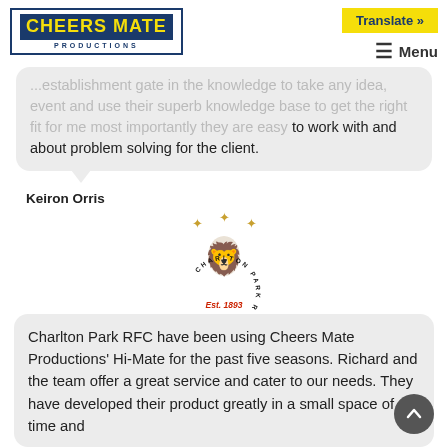[Figure (logo): Cheers Mate Productions logo — navy blue border box, yellow banner with dark blue bold text 'CHEERS MATE', below in small caps 'PRODUCTIONS']
Translate »
≡ Menu
to work with and about problem solving for the client.
Keiron Orris
[Figure (logo): Charlton Park RFC crest — lion rearing up with three stars above, circular text reading 'CHARLTON PARK RFC', red text below reading 'Est. 1893']
Charlton Park RFC have been using Cheers Mate Productions' Hi-Mate for the past five seasons. Richard and the team offer a great service and cater to our needs. They have developed their product greatly in a small space of time and